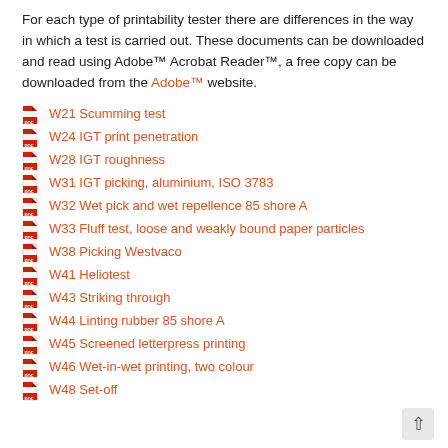For each type of printability tester there are differences in the way in which a test is carried out. These documents can be downloaded and read using Adobe™ Acrobat Reader™, a free copy can be downloaded from the Adobe™ website.
W21 Scumming test
W24 IGT print penetration
W28 IGT roughness
W31 IGT picking, aluminium, ISO 3783
W32 Wet pick and wet repellence 85 shore A
W33 Fluff test, loose and weakly bound paper particles
W38 Picking Westvaco
W41 Heliotest
W43 Striking through
W44 Linting rubber 85 shore A
W45 Screened letterpress printing
W46 Wet-in-wet printing, two colour
W48 Set-off